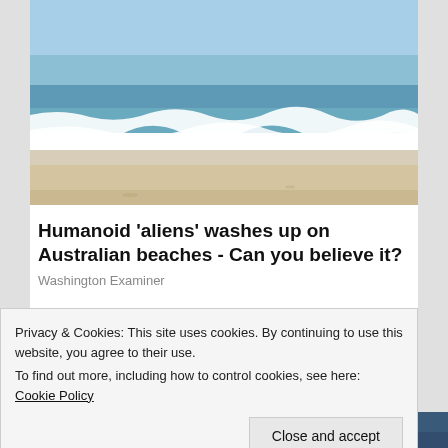[Figure (photo): Beach scene with ocean waves, white surf breaking on sandy shore under a blue sky]
Humanoid 'aliens' washes up on Australian beaches - Can you believe it?
Washington Examiner
Privacy & Cookies: This site uses cookies. By continuing to use this website, you agree to their use.
To find out more, including how to control cookies, see here: Cookie Policy
Close and accept
[Figure (photo): Partial view of people at the bottom of the page]